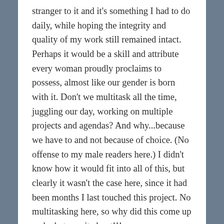stranger to it and it's something I had to do daily, while hoping the integrity and quality of my work still remained intact. Perhaps it would be a skill and attribute every woman proudly proclaims to possess, almost like our gender is born with it. Don't we multitask all the time, juggling our day, working on multiple projects and agendas? And why...because we have to and not because of choice. (No offense to my male readers here.) I didn't know how it would fit into all of this, but clearly it wasn't the case here, since it had been months I last touched this project. No multitasking here, so why did this come up and what was it about!!!
Many would list multitasking as a skill, and an attribute on a job application. Have you ever